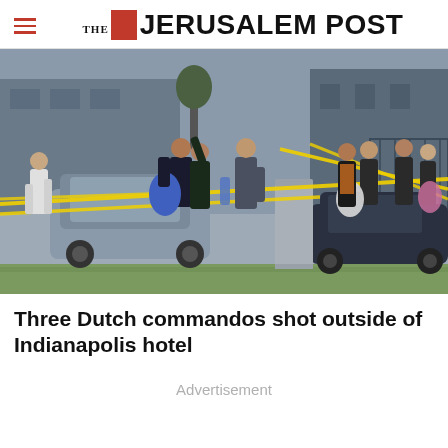THE JERUSALEM POST
[Figure (photo): Crime scene photograph showing a parking lot cordoned off with yellow police tape. Several people including law enforcement officers and individuals in dark jackets labeled 'POLICE' are visible. Cars are parked in the lot and a large cylindrical concrete bollard is in the foreground. Green grass is visible at the bottom edge.]
Three Dutch commandos shot outside of Indianapolis hotel
Advertisement